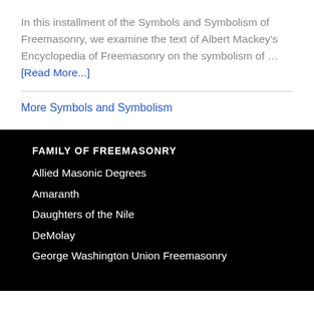In this installment of the Symbols and Symbolism of Freemasonry, we examine the text of Albert Mackey's Encyclopedia of Freemasonry on the symbolism of … [Read More...]
More Symbols and Symbolism
FAMILY OF FREEMASONRY
Allied Masonic Degrees
Amaranth
Daughters of the Nile
DeMolay
George Washington Union Freemasonry